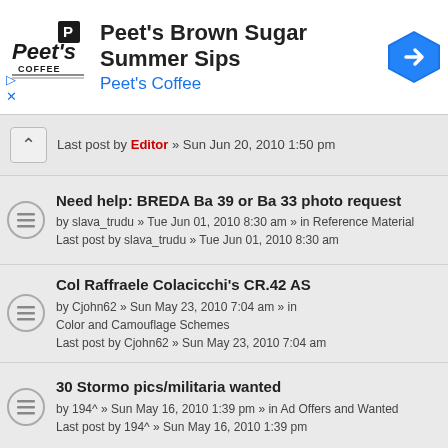[Figure (other): Peet's Coffee advertisement banner with logo, title 'Peet's Brown Sugar Summer Sips', subtitle 'Peet's Coffee', and a blue navigation arrow icon]
Last post by Editor » Sun Jun 20, 2010 1:50 pm
Need help: BREDA Ba 39 or Ba 33 photo request
by slava_trudu » Tue Jun 01, 2010 8:30 am » in Reference Material
Last post by slava_trudu » Tue Jun 01, 2010 8:30 am
Col Raffraele Colacicchi's CR.42 AS
by Cjohn62 » Sun May 23, 2010 7:04 am » in Color and Camouflage Schemes
Last post by Cjohn62 » Sun May 23, 2010 7:04 am
30 Stormo pics/militaria wanted
by 194^ » Sun May 16, 2010 1:39 pm » in Ad Offers and Wanted
Last post by 194^ » Sun May 16, 2010 1:39 pm
SNEAK PREVIEW: Italeri 1/72 SM.82 by Luca Bossi
by Editor » Sat Apr 24, 2010 12:28 pm » in Pics
Last post by Editor » Sat Apr 24, 2010 12:28 pm
SAMI - 1/72 Airfix Fiat G.91